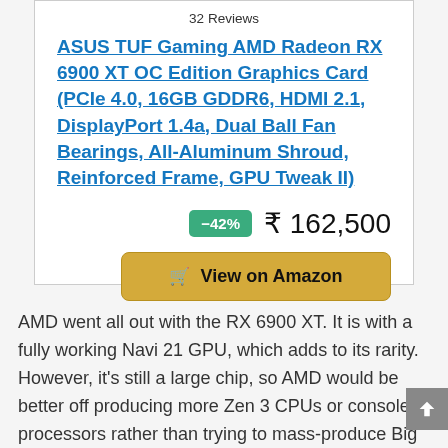32 Reviews
ASUS TUF Gaming AMD Radeon RX 6900 XT OC Edition Graphics Card (PCIe 4.0, 16GB GDDR6, HDMI 2.1, DisplayPort 1.4a, Dual Ball Fan Bearings, All-Aluminum Shroud, Reinforced Frame, GPU Tweak II)
–42%   ₹ 162,500
View on Amazon
AMD went all out with the RX 6900 XT. It is with a fully working Navi 21 GPU, which adds to its rarity. However, it's still a large chip, so AMD would be better off producing more Zen 3 CPUs or console processors rather than trying to mass-produce Big Navi. Even as a mining solution, it falls short since the RX 6800 outperforms it in Ethereum